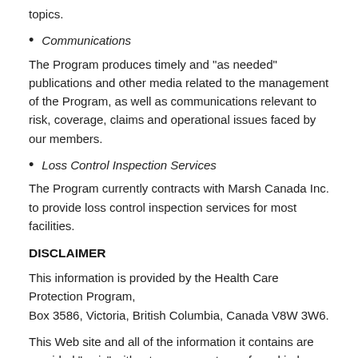topics.
Communications
The Program produces timely and "as needed" publications and other media related to the management of the Program, as well as communications relevant to risk, coverage, claims and operational issues faced by our members.
Loss Control Inspection Services
The Program currently contracts with Marsh Canada Inc. to provide loss control inspection services for most facilities.
DISCLAIMER
This information is provided by the Health Care Protection Program,
Box 3586, Victoria, British Columbia, Canada V8W 3W6.
This Web site and all of the information it contains are provided "as is" without any guarantees of any kind, whether express or implied.